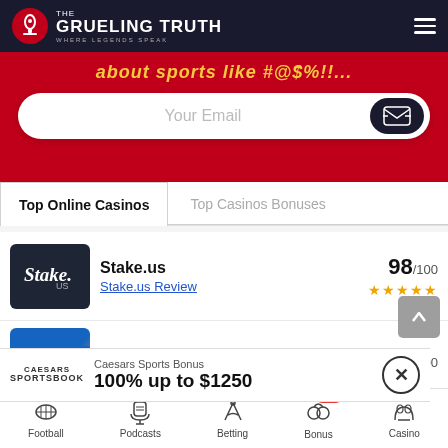The Grueling Truth — Where Legends Speak
[Figure (screenshot): Red banner with email signup field and send button]
Top Online Casinos | Top Casinos Bonuses
| Casino | Score |
| --- | --- |
| Stake.us | 98/100 |
| BetRivers.net | 96/100 |
[Figure (infographic): Caesars Sportsbook promotional banner: 100% up to $1250]
Football | Podcasts | Betting | Bonus 10 | Casino